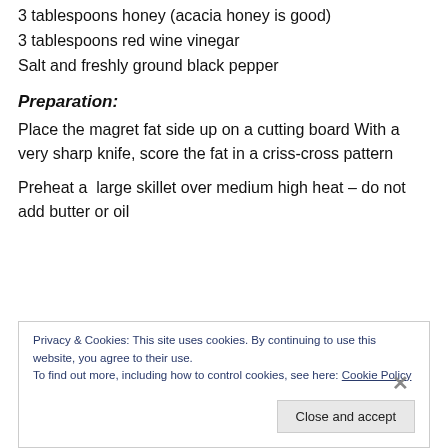3 tablespoons honey (acacia honey is good)
3 tablespoons red wine vinegar
Salt and freshly ground black pepper
Preparation:
Place the magret fat side up on a cutting board With a very sharp knife, score the fat in a criss-cross pattern
Preheat a  large skillet over medium high heat – do not add butter or oil
Privacy & Cookies: This site uses cookies. By continuing to use this website, you agree to their use.
To find out more, including how to control cookies, see here: Cookie Policy